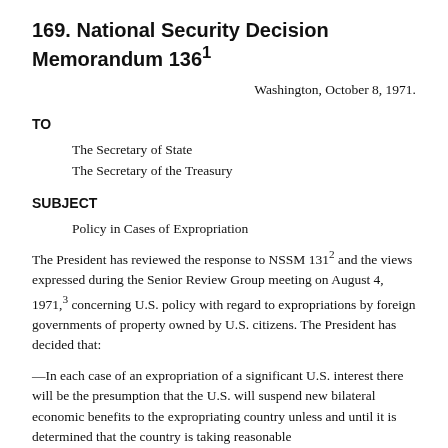169. National Security Decision Memorandum 136¹
Washington, October 8, 1971.
TO
The Secretary of State
The Secretary of the Treasury
SUBJECT
Policy in Cases of Expropriation
The President has reviewed the response to NSSM 131² and the views expressed during the Senior Review Group meeting on August 4, 1971,³ concerning U.S. policy with regard to expropriations by foreign governments of property owned by U.S. citizens. The President has decided that:
—In each case of an expropriation of a significant U.S. interest there will be the presumption that the U.S. will suspend new bilateral economic benefits to the expropriating country unless and until it is determined that the country is taking reasonable